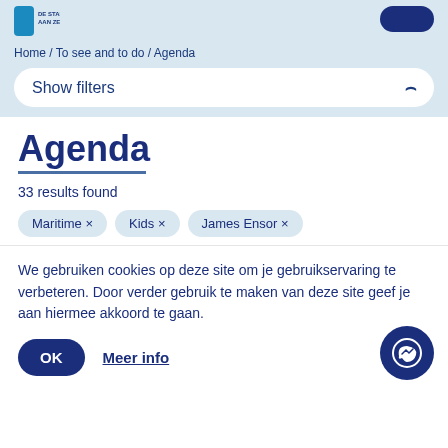[Figure (logo): City of Ostend logo with text DE STAD AAN ZEE and a dark blue button top right]
Home / To see and to do / Agenda
Show filters
Agenda
33 results found
Maritime ×
Kids ×
James Ensor ×
We gebruiken cookies op deze site om je gebruikservaring te verbeteren. Door verder gebruik te maken van deze site geef je aan hiermee akkoord te gaan.
OK
Meer info